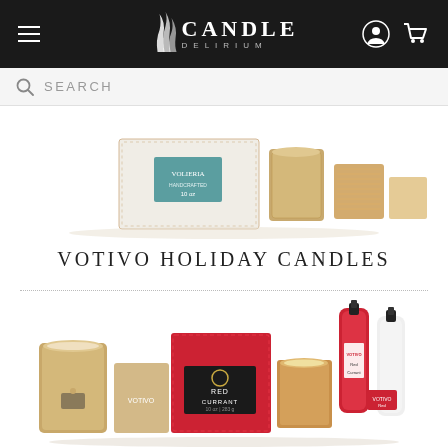Candle Delirium - Navigation header with hamburger menu, logo, user icon, and cart icon
SEARCH
[Figure (photo): Votivo holiday candle gift set with decorative box, tan leather candle holder, and gold metallic candle holder on white background]
VOTIVO HOLIDAY CANDLES
[Figure (photo): Votivo holiday candles collection showing tan leather candle, red currant boxed gift set, gold metallic candle glass, room spray bottle, and clear glass spray bottle with red tag]